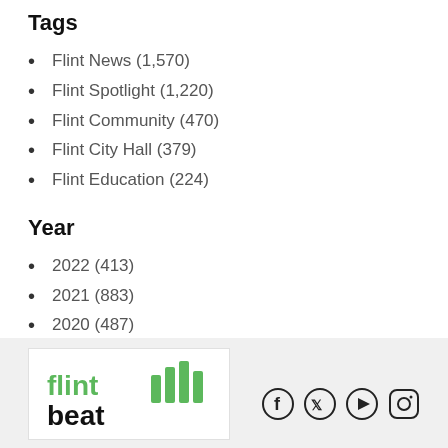Tags
Flint News (1,570)
Flint Spotlight (1,220)
Flint Community (470)
Flint City Hall (379)
Flint Education (224)
Year
2022 (413)
2021 (883)
2020 (487)
2019 (178)
2018 (61)
[Figure (logo): Flint Beat logo with green text and bar chart graphic]